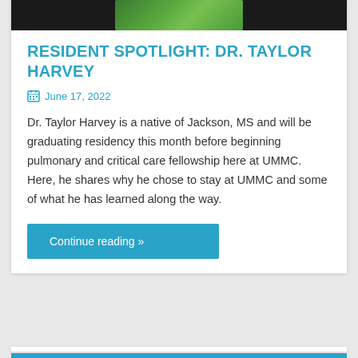[Figure (photo): Dark banner with green foliage photo in center strip]
RESIDENT SPOTLIGHT: DR. TAYLOR HARVEY
June 17, 2022
Dr. Taylor Harvey is a native of Jackson, MS and will be graduating residency this month before beginning pulmonary and critical care fellowship here at UMMC. Here, he shares why he chose to stay at UMMC and some of what he has learned along the way.
Continue reading »